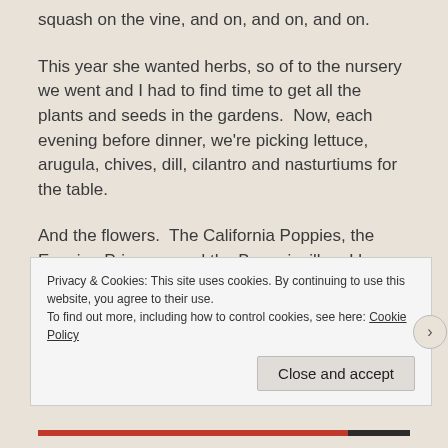squash on the vine, and on, and on, and on.
This year she wanted herbs, so of to the nursery we went and I had to find time to get all the plants and seeds in the gardens.  Now, each evening before dinner, we're picking lettuce, arugula, chives, dill, cilantro and nasturtiums for the table.
And the flowers.  The California Poppies, the Evening Primrose and the Bougainvillea, I love those.  The huge camellia outside my bedroom window covered with perfect pink blooms.  And the
Privacy & Cookies: This site uses cookies. By continuing to use this website, you agree to their use.
To find out more, including how to control cookies, see here: Cookie Policy